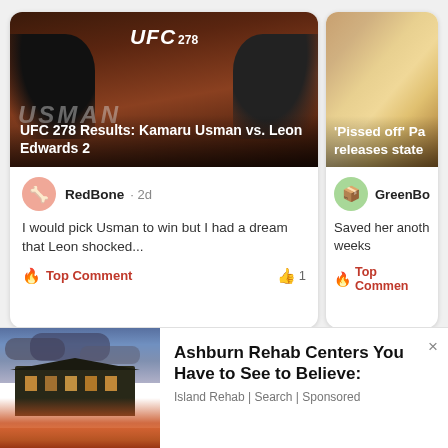[Figure (screenshot): UFC 278 fight poster showing Kamaru Usman vs Leon Edwards 2 with UFC 278 logo]
UFC 278 Results: Kamaru Usman vs. Leon Edwards 2
RedBone · 2d
I would pick Usman to win but I had a dream that Leon shocked...
🔥 Top Comment   👍 1
[Figure (photo): Close-up photo of a person with light flowing hair]
'Pissed off' Pai releases state
GreenBox
Saved her anoth weeks
🔥 Top Commen
[Figure (photo): Photo of a large house or mansion by water at sunset with dramatic clouds]
Ashburn Rehab Centers You Have to See to Believe:
Island Rehab | Search | Sponsored